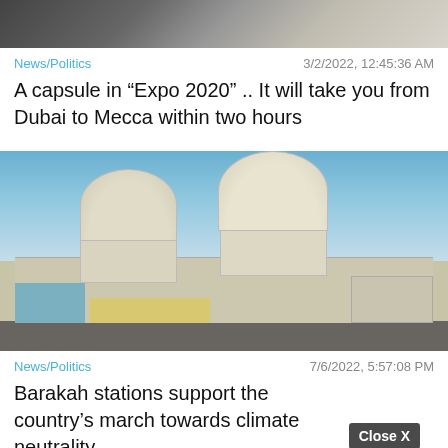[Figure (photo): Partial top image cropped, showing what appears to be interior or abstract shapes in dark tones]
News/Politics
3/2/2022, 12:45:36 AM
A capsule in “Expo 2020” .. It will take you from Dubai to Mecca within two hours
[Figure (photo): Barakah nuclear power plant with two large dome structures against a blue sky, desert landscape in foreground]
News/Politics
7/6/2022, 5:57:08 PM
Barakah stations support the country’s march towards climate neutrality
Close X